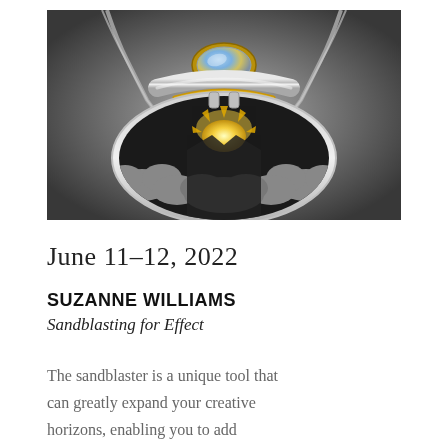[Figure (photo): Close-up photograph of an artistic jewelry pendant necklace. The pendant features a fan/shell shaped bottom piece with an intricate scene of a golden sun rising above stylized silver clouds, set against a dark background. Above the pendant is a curved silver bar bail with a moonstone cabochon set in gold at the top. The necklace chain is visible at the top, set against a grey gradient background.]
June 11–12, 2022
SUZANNE WILLIAMS
Sandblasting for Effect
The sandblaster is a unique tool that can greatly expand your creative horizons, enabling you to add